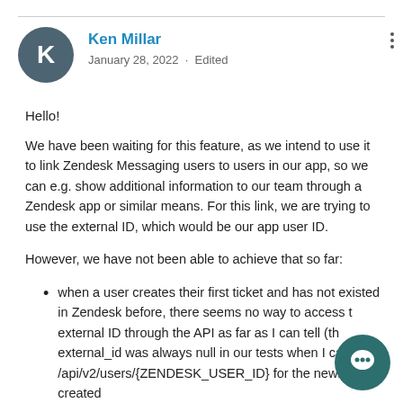[Figure (illustration): User avatar circle with letter K in dark teal/slate color]
Ken Millar
January 28, 2022  ·  Edited
Hello!
We have been waiting for this feature, as we intend to use it to link Zendesk Messaging users to users in our app, so we can e.g. show additional information to our team through a Zendesk app or similar means. For this link, we are trying to use the external ID, which would be our app user ID.
However, we have not been able to achieve that so far:
when a user creates their first ticket and has not existed in Zendesk before, there seems no way to access the external ID through the API as far as I can tell (the external_id was always null in our tests when I call /api/v2/users/{ZENDESK_USER_ID} for the newly created
[Figure (illustration): Chat bubble widget icon in dark teal circle at bottom right]